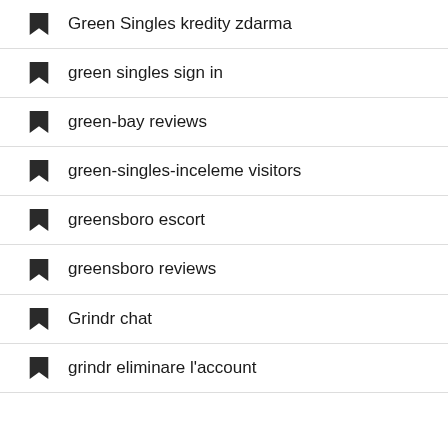Green Singles kredity zdarma
green singles sign in
green-bay reviews
green-singles-inceleme visitors
greensboro escort
greensboro reviews
Grindr chat
grindr eliminare l'account